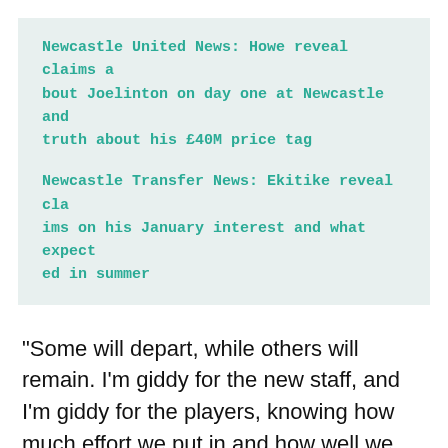Newcastle United News: Howe reveal claims about Joelinton on day one at Newcastle and truth about his £40M price tag
Newcastle Transfer News: Ekitike reveal claims on his January interest and what expected in summer
“Some will depart, while others will remain. I’m giddy for the new staff, and I’m giddy for the players, knowing how much effort we put in and how well we finished.”
Burn stated after the game in Lancashire on the season as a whole: “We’re overjoyed because, given where we started and where we finished, 40 points and